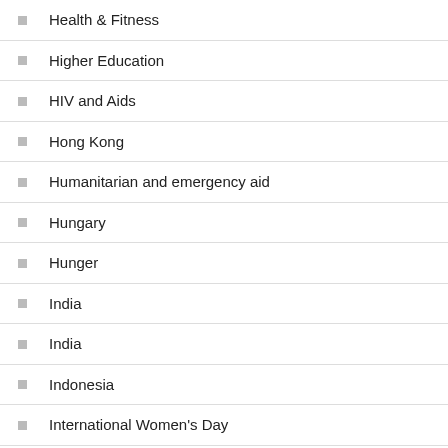Health & Fitness
Higher Education
HIV and Aids
Hong Kong
Humanitarian and emergency aid
Hungary
Hunger
India
India
Indonesia
International Women's Day